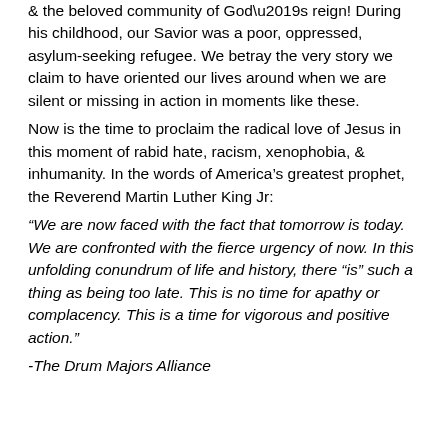& the beloved community of God’s reign! During his childhood, our Savior was a poor, oppressed, asylum-seeking refugee. We betray the very story we claim to have oriented our lives around when we are silent or missing in action in moments like these.
Now is the time to proclaim the radical love of Jesus in this moment of rabid hate, racism, xenophobia, & inhumanity. In the words of America’s greatest prophet, the Reverend Martin Luther King Jr:
“We are now faced with the fact that tomorrow is today. We are confronted with the fierce urgency of now. In this unfolding conundrum of life and history, there “is” such a thing as being too late. This is no time for apathy or complacency. This is a time for vigorous and positive action.”
-The Drum Majors Alliance